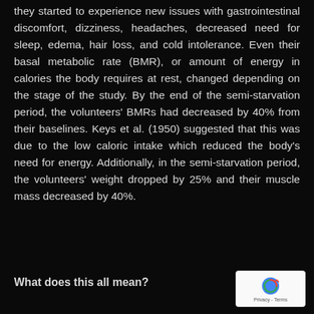they started to experience new issues with gastrointestinal discomfort, dizziness, headaches, decreased need for sleep, edema, hair loss, and cold intolerance. Even their basal metabolic rate (BMR), or amount of energy in calories the body requires at rest, changed depending on the stage of the study. By the end of the semi-starvation period, the volunteers' BMRs had decreased by 40% from their baselines. Keys et al. (1950) suggested that this was due to the low caloric intake which reduced the body's need for energy. Additionally, in the semi-starvation period, the volunteers' weight dropped by 25% and their muscle mass decreased by 40%.
What does this all mean?